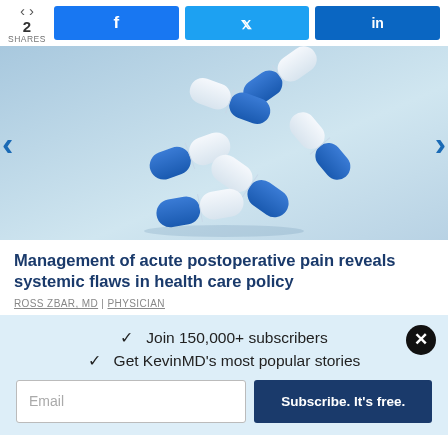2 SHARES | Facebook | Twitter | LinkedIn
[Figure (photo): Blue and white capsule pills floating/falling on a light blue-grey background]
Management of acute postoperative pain reveals systemic flaws in health care policy
ROSS ZBAR, MD | PHYSICIAN
✓  Join 150,000+ subscribers
✓  Get KevinMD's most popular popular stories
Email  Subscribe. It's free.